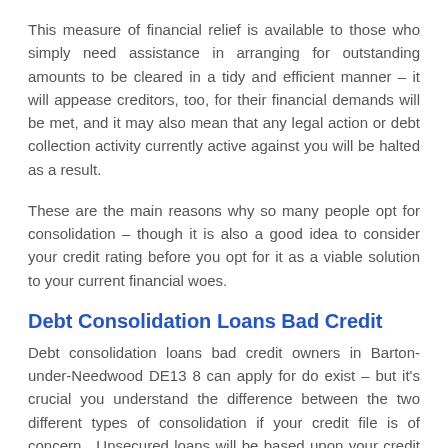This measure of financial relief is available to those who simply need assistance in arranging for outstanding amounts to be cleared in a tidy and efficient manner – it will appease creditors, too, for their financial demands will be met, and it may also mean that any legal action or debt collection activity currently active against you will be halted as a result.
These are the main reasons why so many people opt for consolidation – though it is also a good idea to consider your credit rating before you opt for it as a viable solution to your current financial woes.
Debt Consolidation Loans Bad Credit
Debt consolidation loans bad credit owners in Barton-under-Needwood DE13 8 can apply for do exist – but it's crucial you understand the difference between the two different types of consolidation if your credit file is of concern.  Unsecured loans will be based upon your credit history and, as such, if your report is poor, it may be less likely that you will succeed in taking out extra monies than via secured loan options.